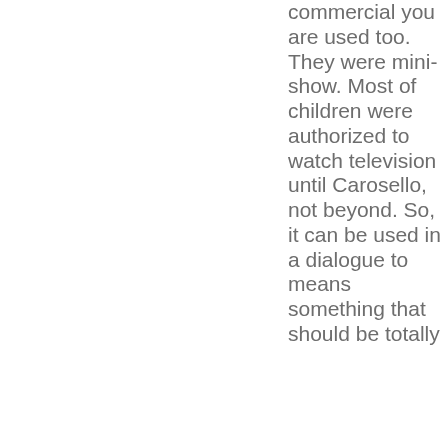commercial you are used too. They were mini-show. Most of children were authorized to watch television until Carosello, not beyond. So, it can be used in a dialogue to means something that should be totally